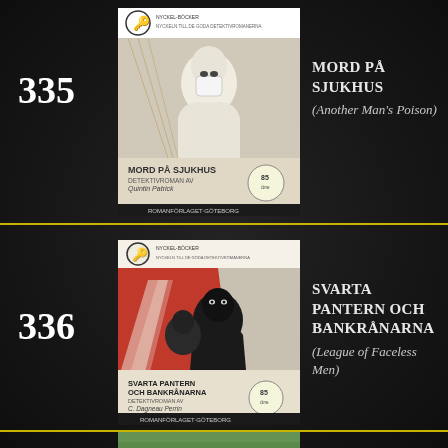335
[Figure (illustration): Book cover for 'Mord på Sjukhus' (Detektivroman av Quintin Patrick), published by Romanförlaget Göteborg. Shows a masked medical figure. Price 85 öre. Nyckel-Böcker series.]
MORD PÅ SJUKHUS (Another Man's Poison)
336
[Figure (illustration): Book cover for 'Svarta Pantern och Bankrånarna', published by Romanförlaget Göteborg. Red and black cover showing masked criminals. Price 85 öre. Nyckel-Böcker series.]
SVARTA PANTERN OCH BANKRÅNARNA (League of Faceless Men)
[Figure (illustration): Partial book cover for entry 337, green/teal colored, partially visible at bottom of page.]